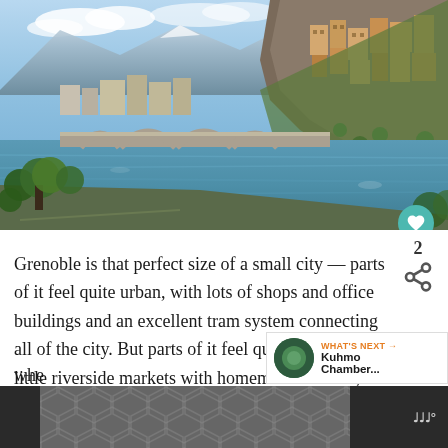[Figure (photo): Photograph of Grenoble, France — showing a river with a stone arch bridge, buildings built into a rocky hillside on the right, mountains and blue sky in the background, and riverside trees and path in the foreground.]
Grenoble is that perfect size of a small city — parts of it feel quite urban, with lots of shops and office buildings and an excellent tram system connecting all of the city.  But parts of it feel quite country — little riverside markets with homemade cheeses, tiny restaurants, whe...